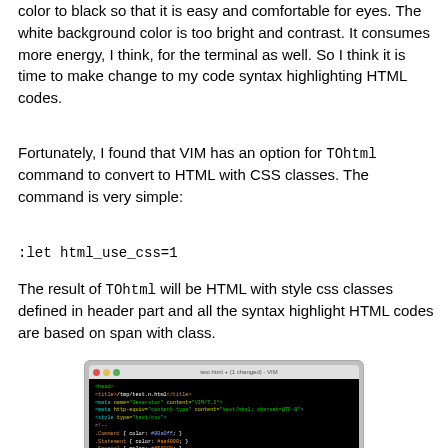color to black so that it is easy and comfortable for eyes. The white background color is too bright and contrast. It consumes more energy, I think, for the terminal as well. So I think it is time to make change to my code syntax highlighting HTML codes.
Fortunately, I found that VIM has an option for TOhtml command to convert to HTML with CSS classes. The command is very simple:
The result of TOhtml will be HTML with style css classes defined in header part and all the syntax highlight HTML codes are based on span with class.
[Figure (screenshot): Screenshot of a VIM terminal window showing HTML source code with syntax highlighting on a black background. The code includes head, meta, and style tags with CSS color definitions for Comment, Statement, Special, Identifier, Type, pre and body elements.]